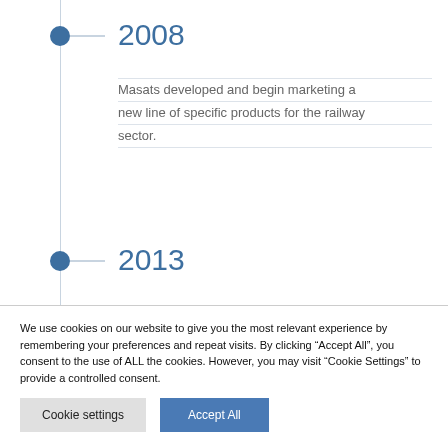2008
Masats developed and begin marketing a new line of specific products for the railway sector.
2013
We use cookies on our website to give you the most relevant experience by remembering your preferences and repeat visits. By clicking “Accept All”, you consent to the use of ALL the cookies. However, you may visit “Cookie Settings” to provide a controlled consent.